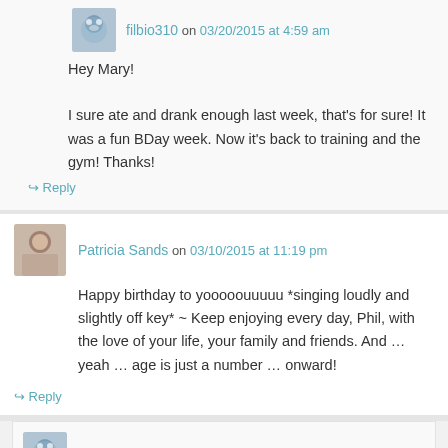filbio310 on 03/20/2015 at 4:59 am
Hey Mary!

I sure ate and drank enough last week, that's for sure! It was a fun BDay week. Now it's back to training and the gym! Thanks!
↳ Reply
Patricia Sands on 03/10/2015 at 11:19 pm
Happy birthday to yooooouuuuu *singing loudly and slightly off key* ~ Keep enjoying every day, Phil, with the love of your life, your family and friends. And … yeah … age is just a number … onward!
↳ Reply
filbio310 on 03/20/2015 at 5:07 am
Hey Patricia!